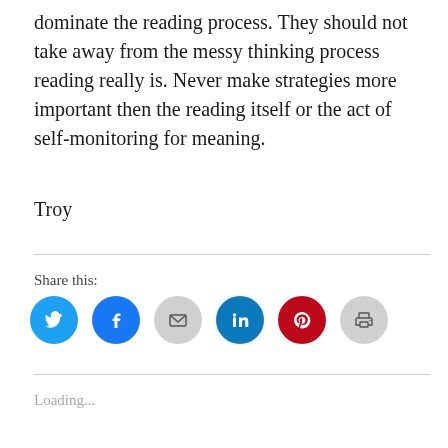dominate the reading process. They should not take away from the messy thinking process reading really is. Never make strategies more important then the reading itself or the act of self-monitoring for meaning.
Troy
Share this:
[Figure (infographic): Six social sharing icon buttons: Twitter (blue), Facebook (blue), Email (gray), LinkedIn (teal-blue), Pinterest (red), Print (gray)]
Loading...